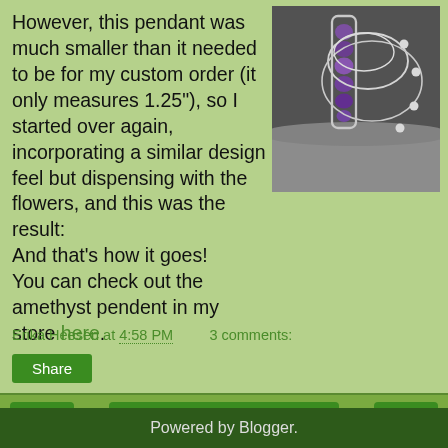However, this pendant was much smaller than it needed to be for my custom order (it only measures 1.25"), so I started over again, incorporating a similar design feel but dispensing with the flowers, and this was the result: And that's how it goes! You can check out the amethyst pendent in my store here.
[Figure (photo): Photo of an amethyst wire-wrapped pendant with white wire loops, hanging on a dark gray surface.]
Erika Heesen at 4:58 PM   3 comments:
Share
‹
Home
›
View web version
Powered by Blogger.